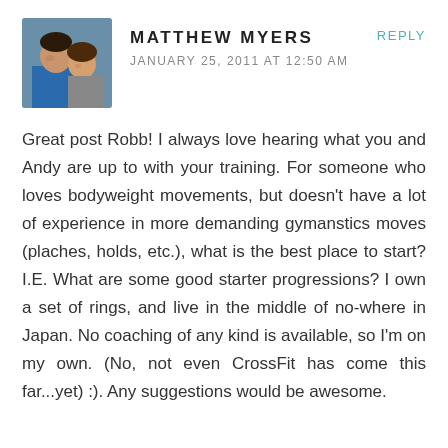[Figure (photo): Avatar photo of Matthew Myers — a man and woman taking a selfie]
MATTHEW MYERS
JANUARY 25, 2011 AT 12:50 AM
REPLY
Great post Robb! I always love hearing what you and Andy are up to with your training. For someone who loves bodyweight movements, but doesn't have a lot of experience in more demanding gymanstics moves (plaches, holds, etc.), what is the best place to start? I.E. What are some good starter progressions? I own a set of rings, and live in the middle of no-where in Japan. No coaching of any kind is available, so I'm on my own. (No, not even CrossFit has come this far...yet) :). Any suggestions would be awesome.